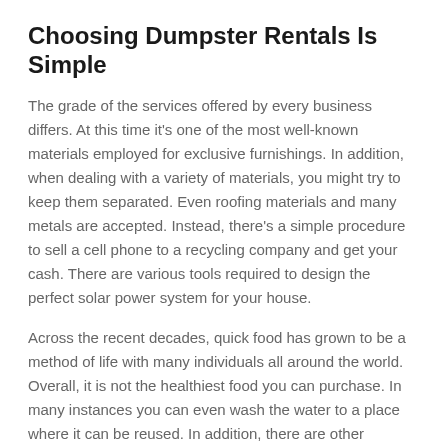Choosing Dumpster Rentals Is Simple
The grade of the services offered by every business differs. At this time it's one of the most well-known materials employed for exclusive furnishings. In addition, when dealing with a variety of materials, you might try to keep them separated. Even roofing materials and many metals are accepted. Instead, there's a simple procedure to sell a cell phone to a recycling company and get your cash. There are various tools required to design the perfect solar power system for your house.
Across the recent decades, quick food has grown to be a method of life with many individuals all around the world. Overall, it is not the healthiest food you can purchase. In many instances you can even wash the water to a place where it can be reused. In addition, there are other methods of further saving water. Because of this alone, you can observe how important it's to get accessible toilets everywhere.